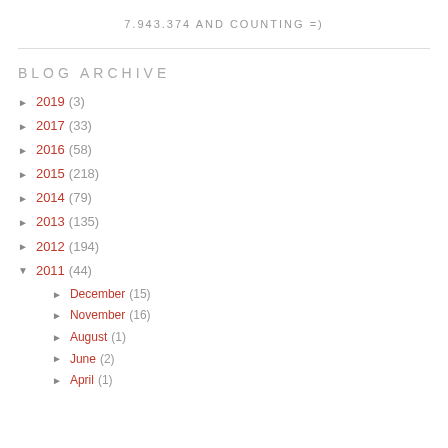7.943.374 AND COUNTING =)
BLOG ARCHIVE
► 2019 (3)
► 2017 (33)
► 2016 (58)
► 2015 (218)
► 2014 (79)
► 2013 (135)
► 2012 (194)
▼ 2011 (44)
► December (15)
► November (16)
► August (1)
► June (2)
► April (1)